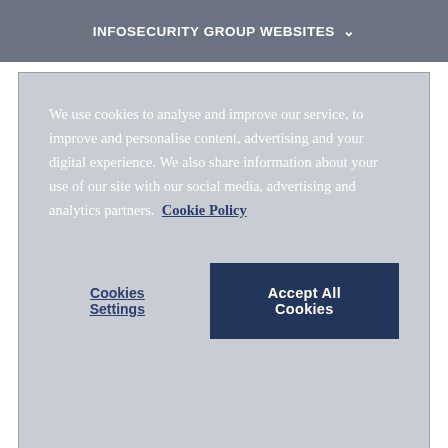INFOSECURITY GROUP WEBSITES ▾
We use cookies to analyse and improve our service, to improve and personalise content, advertising and your digital experience. We also share information about your use of our site with our social media, advertising and analytics partners. Cookie Policy
Cookies Settings  Accept All Cookies
The report also found that malicious outsiders were the leading source of data breaches, accounting for 68%, up from 13% in 2015. The number of records breached in malicious outsider attacks increased by 286% from 2015. Hacktivist data breaches also increased in 2016 by 31%, but only account for 3% of all breaches that occurred last year.
Across industries, the technology sector had the largest increase in data breaches in 2016. Breaches rose 55%, but only